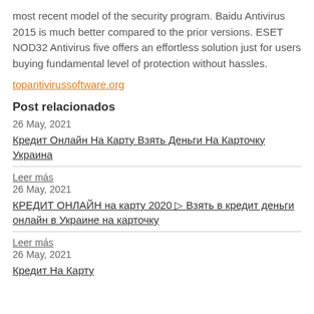most recent model of the security program. Baidu Antivirus 2015 is much better compared to the prior versions. ESET NOD32 Antivirus five offers an effortless solution just for users buying fundamental level of protection without hassles.
topantivirussoftware.org
Post relacionados
26 May, 2021
Кредит Онлайн На Карту Взять Деньги На Карточку Украина
Leer más
26 May, 2021
КРЕДИТ ОНЛАЙН на карту 2020 ▷ Взять в кредит деньги онлайн в Украине на карточку
Leer más
26 May, 2021
Кредит На Карту